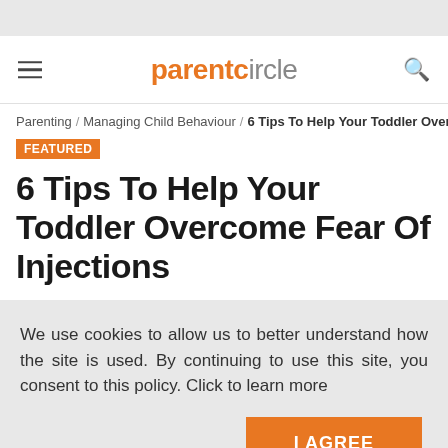parentcircle
Parenting / Managing Child Behaviour / 6 Tips To Help Your Toddler Overc
FEATURED
6 Tips To Help Your Toddler Overcome Fear Of Injections
We use cookies to allow us to better understand how the site is used. By continuing to use this site, you consent to this policy. Click to learn more
I AGREE